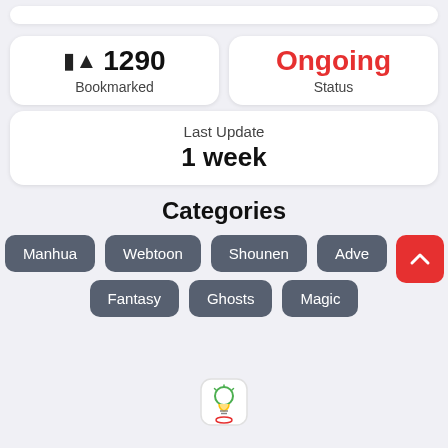1290 Bookmarked
Ongoing Status
Last Update 1 week
Categories
Manhua
Webtoon
Shounen
Adve[nture]
Fantasy
Ghosts
Magic
[Figure (logo): Small app logo with a light bulb illustration at the bottom center]